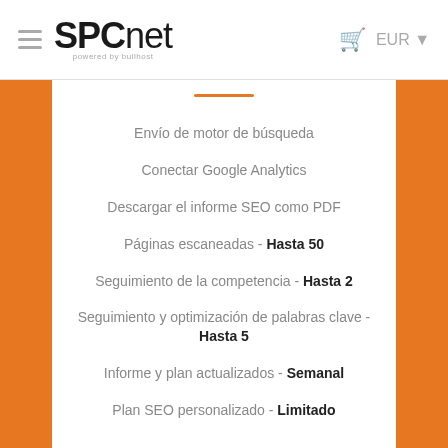SPCnet powered by bullhost — EUR
Envío de motor de búsqueda
Conectar Google Analytics
Descargar el informe SEO como PDF
Páginas escaneadas - Hasta 50
Seguimiento de la competencia - Hasta 2
Seguimiento y optimización de palabras clave - Hasta 5
Informe y plan actualizados - Semanal
Plan SEO personalizado - Limitado